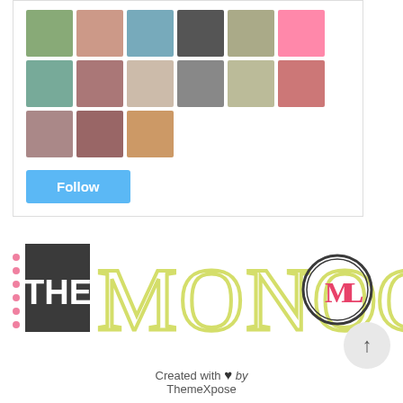[Figure (screenshot): Grid of follower avatar thumbnails in two rows of 6 and one row of 3, followed by a blue Follow button]
[Figure (logo): The Monogram Mama logo with decorative lettering in olive/yellow outline style with 'THE' in dark block letters and 'MONO...' in large outlined font, partially cut off]
Created with ♥ by ThemeXpose